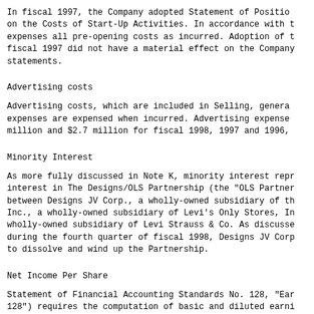In fiscal 1997, the Company adopted Statement of Position on the Costs of Start-Up Activities. In accordance with t expenses all pre-opening costs as incurred. Adoption of t fiscal 1997 did not have a material effect on the Company statements.
Advertising costs
Advertising costs, which are included in Selling, general expenses are expensed when incurred. Advertising expense million and $2.7 million for fiscal 1998, 1997 and 1996,
Minority Interest
As more fully discussed in Note K, minority interest repr interest in The Designs/OLS Partnership (the "OLS Partner between Designs JV Corp., a wholly-owned subsidiary of th Inc., a wholly-owned subsidiary of Levi's Only Stores, I wholly-owned subsidiary of Levi Strauss & Co. As discusse during the fourth quarter of fiscal 1998, Designs JV Corp to dissolve and wind up the Partnership.
Net Income Per Share
Statement of Financial Accounting Standards No. 128, "Ear 128") requires the computation of basic and diluted earni earnings per share is computed by dividing net income (lo average number of shares of common stock outstanding dur earnings per share is determined by giving effect to the options using the treasury stock method.